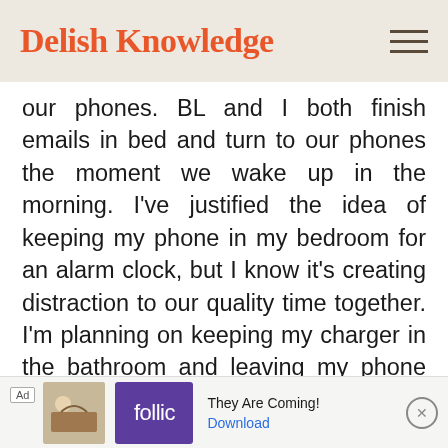Delish Knowledge
our phones. BL and I both finish emails in bed and turn to our phones the moment we wake up in the morning. I've justified the idea of keeping my phone in my bedroom for an alarm clock, but I know it's creating distraction to our quality time together. I'm planning on keeping my charger in the bathroom and leaving my phone there until I need it the following morning.
[Figure (other): Advertisement banner for 'Follic' app with text 'They Are Coming!' and a Download link]